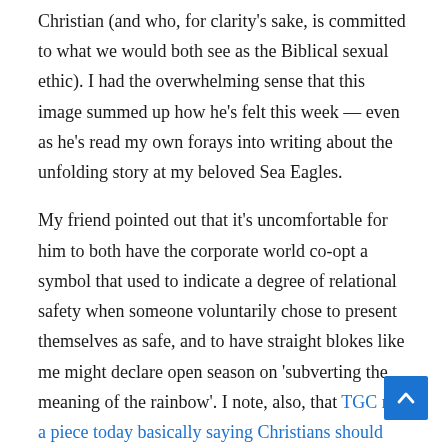Christian (and who, for clarity's sake, is committed to what we would both see as the Biblical sexual ethic). I had the overwhelming sense that this image summed up how he's felt this week — even as he's read my own forays into writing about the unfolding story at my beloved Sea Eagles.
My friend pointed out that it's uncomfortable for him to both have the corporate world co-opt a symbol that used to indicate a degree of relational safety when someone voluntarily chose to present themselves as safe, and to have straight blokes like me might declare open season on 'subverting the meaning of the rainbow'. I note, also, that TGC ran a piece today basically saying Christians should never embrace the rainbow. So. Whatever. If you want to weaken your conscience you should go read that.
But, given my friend's response to my previous post, I thought it'd be worth unpacking a little more what I mean